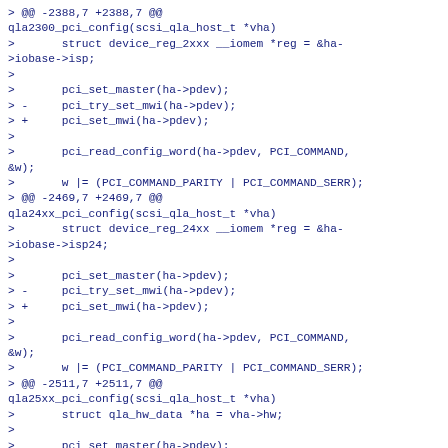> @@ -2388,7 +2388,7 @@
qla2300_pci_config(scsi_qla_host_t *vha)
>       struct device_reg_2xxx __iomem *reg = &ha->iobase->isp;
>
>       pci_set_master(ha->pdev);
> -     pci_try_set_mwi(ha->pdev);
> +     pci_set_mwi(ha->pdev);
>
>       pci_read_config_word(ha->pdev, PCI_COMMAND, &w);
>       w |= (PCI_COMMAND_PARITY | PCI_COMMAND_SERR);
> @@ -2469,7 +2469,7 @@
qla24xx_pci_config(scsi_qla_host_t *vha)
>       struct device_reg_24xx __iomem *reg = &ha->iobase->isp24;
>
>       pci_set_master(ha->pdev);
> -     pci_try_set_mwi(ha->pdev);
> +     pci_set_mwi(ha->pdev);
>
>       pci_read_config_word(ha->pdev, PCI_COMMAND, &w);
>       w |= (PCI_COMMAND_PARITY | PCI_COMMAND_SERR);
> @@ -2511,7 +2511,7 @@
qla25xx_pci_config(scsi_qla_host_t *vha)
>       struct qla_hw_data *ha = vha->hw;
>
>       pci_set_master(ha->pdev);
> -     pci_try_set_mwi(ha->pdev);
> +     pci_set_mwi(ha->pdev);